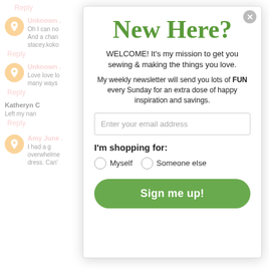Reply
Unknown
Oh I can no
And a chan
stacey.koko
Reply
Unknown
Love love lo
many ways
Reply
Katheryn C
Left my nan
Reply
Amy June
I had a g
overwhelme
dress. Can'
New Here?
WELCOME! It's my mission to get you sewing & making the things you love.
My weekly newsletter will send you lots of FUN every Sunday for an extra dose of happy inspiration and savings.
Enter your email address
I'm shopping for:
Myself
Someone else
Sign me up!